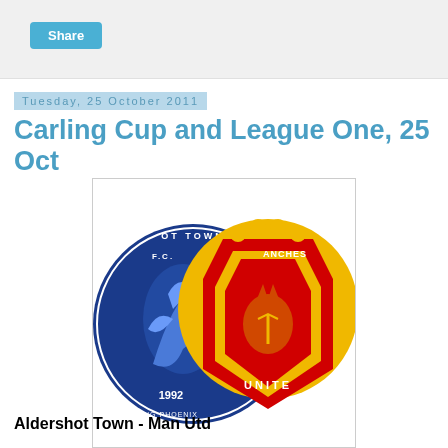Share
Tuesday, 25 October 2011
Carling Cup and League One, 25 Oct
[Figure (illustration): Two overlapping football club badges: Aldershot Town FC (blue circular badge with phoenix, founded 1992) and Manchester United (red/yellow shield badge with devil and 'United' text)]
Aldershot Town - Man Utd